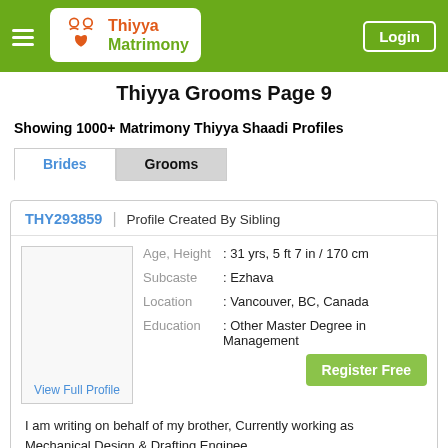Thiyya Matrimony — Login
Thiyya Grooms Page 9
Showing 1000+ Matrimony Thiyya Shaadi Profiles
Brides | Grooms
| Field | Value |
| --- | --- |
| THY293859 | Profile Created By Sibling |
| Age, Height | : 31 yrs, 5 ft 7 in / 170 cm |
| Subcaste | : Ezhava |
| Location | : Vancouver, BC, Canada |
| Education | : Other Master Degree in Management |
I am writing on behalf of my brother, Currently working as Mechanical Design & Drafting Enginee...